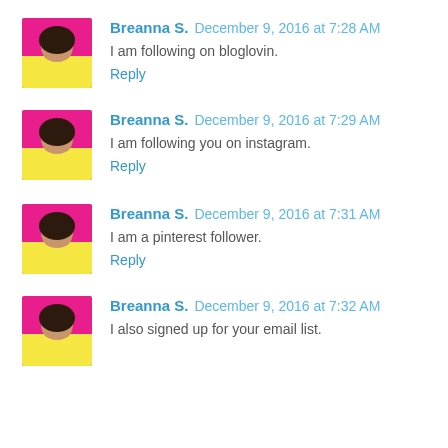Breanna S. December 9, 2016 at 7:28 AM
I am following on bloglovin.
Reply
Breanna S. December 9, 2016 at 7:29 AM
I am following you on instagram.
Reply
Breanna S. December 9, 2016 at 7:31 AM
I am a pinterest follower.
Reply
Breanna S. December 9, 2016 at 7:32 AM
I also signed up for your email list.